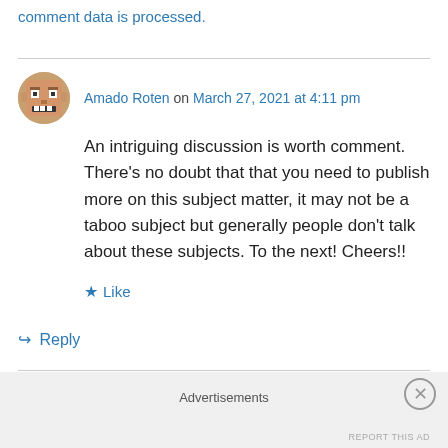comment data is processed.
Amado Roten on March 27, 2021 at 4:11 pm
[Figure (illustration): Pixel-art style avatar of a face with a grimacing or surprised expression, round, used as a user comment avatar.]
An intriguing discussion is worth comment. There’s no doubt that that you need to publish more on this subject matter, it may not be a taboo subject but generally people don’t talk about these subjects. To the next! Cheers!!
★ Like
↪ Reply
Advertisements